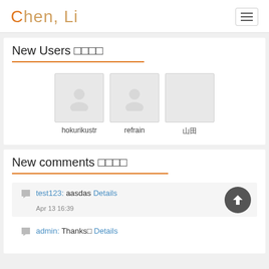Chen, Li
New Users □□□□
[Figure (other): Three user avatars with placeholder icons for hokurikustr, refrain, and a blank avatar with Japanese characters]
New comments □□□□
test123: aasdas Details
Apr 13 16:39
admin: Thanks□ Details